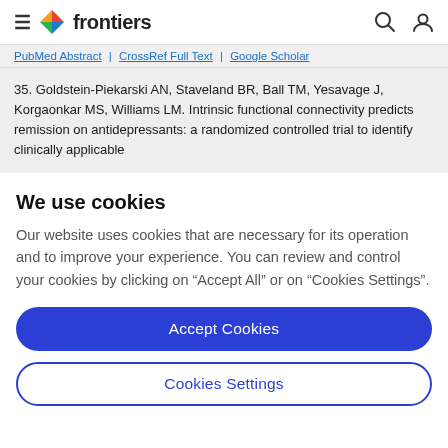frontiers
PubMed Abstract | CrossRef Full Text | Google Scholar
35. Goldstein-Piekarski AN, Staveland BR, Ball TM, Yesavage J, Korgaonkar MS, Williams LM. Intrinsic functional connectivity predicts remission on antidepressants: a randomized controlled trial to identify clinically applicable
We use cookies
Our website uses cookies that are necessary for its operation and to improve your experience. You can review and control your cookies by clicking on "Accept All" or on "Cookies Settings".
Accept Cookies
Cookies Settings